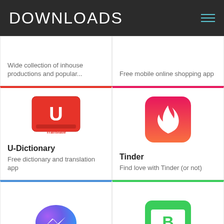DOWNLOADS
Wide collection of inhouse productions and popular...
Free mobile online shopping app
[Figure (logo): U-Dictionary app icon — red book with white U letter and 'Translate' text]
U-Dictionary
Free dictionary and translation app
[Figure (logo): Tinder app icon — pink/red flame on gradient background]
Tinder
Find love with Tinder (or not)
[Figure (logo): Facebook Messenger app icon — purple/blue gradient chat bubble with lightning bolt]
[Figure (logo): WhatsApp Business app icon — green square with B in speech bubble]